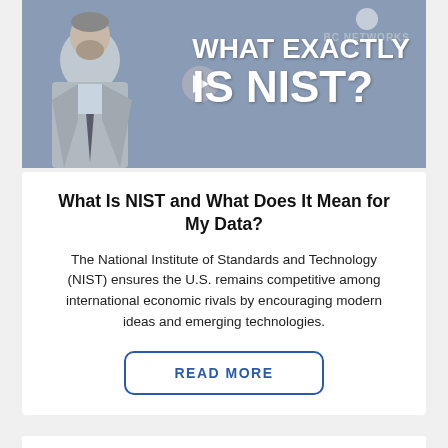[Figure (screenshot): Video thumbnail showing a man in a suit with text overlay 'WHAT EXACTLY IS NIST?' and a play button. BC Networks logo visible in top right corner.]
What Is NIST and What Does It Mean for My Data?
The National Institute of Standards and Technology (NIST) ensures the U.S. remains competitive among international economic rivals by encouraging modern ideas and emerging technologies.
READ MORE